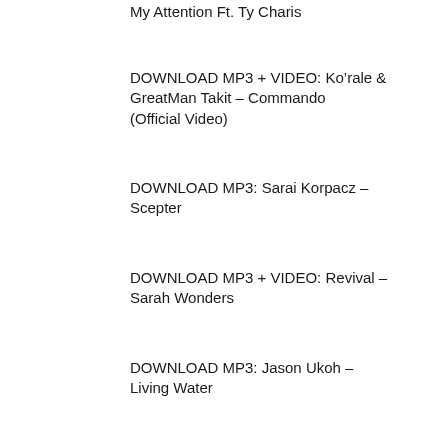My Attention Ft. Ty Charis
DOWNLOAD MP3 + VIDEO: Ko’rale & GreatMan Takit – Commando (Official Video)
DOWNLOAD MP3: Sarai Korpacz – Scepter
DOWNLOAD MP3 + VIDEO: Revival – Sarah Wonders
DOWNLOAD MP3: Jason Ukoh – Living Water